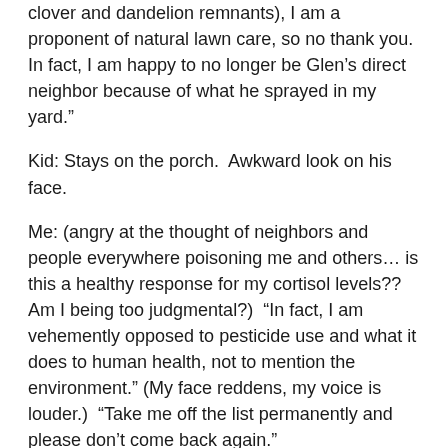clover and dandelion remnants), I am a proponent of natural lawn care, so no thank you.  In fact, I am happy to no longer be Glen’s direct neighbor because of what he sprayed in my yard.”
Kid: Stays on the porch.  Awkward look on his face.
Me: (angry at the thought of neighbors and people everywhere poisoning me and others… is this a healthy response for my cortisol levels??  Am I being too judgmental?)  “In fact, I am vehemently opposed to pesticide use and what it does to human health, not to mention the environment.” (My face reddens, my voice is louder.)  “Take me off the list permanently and please don’t come back again.”
Kid: (Starts to back away.  Has not uttered a word since